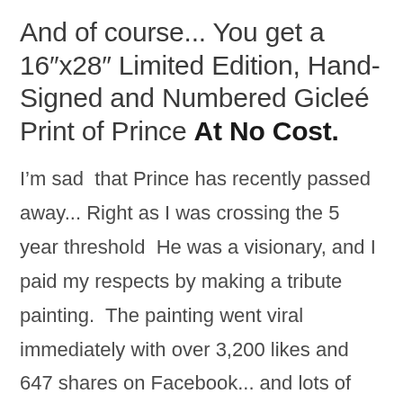And of course... You get a 16"x28" Limited Edition, Hand-Signed and Numbered Gicleé Print of Prince At No Cost.
I'm sad  that Prince has recently passed away... Right as I was crossing the 5 year threshold  He was a visionary, and I paid my respects by making a tribute painting.  The painting went viral immediately with over 3,200 likes and 647 shares on Facebook... and lots of people messaging